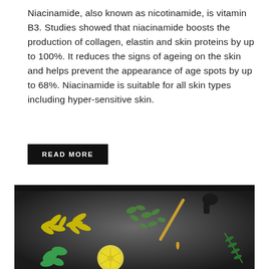Niacinamide, also known as nicotinamide, is vitamin B3. Studies showed that niacinamide boosts the production of collagen, elastin and skin proteins by up to 100%. It reduces the signs of ageing on the skin and helps prevent the appearance of age spots by up to 68%. Niacinamide is suitable for all skin types including hyper-sensitive skin.
READ MORE
[Figure (photo): Dark background product photo showing botanical ingredients: yellow ylang-ylang flowers, small green herb leaves, a lemon slice, rosemary sprig, and a glass dropper pipette with golden oil, against a grey/black gradient background.]